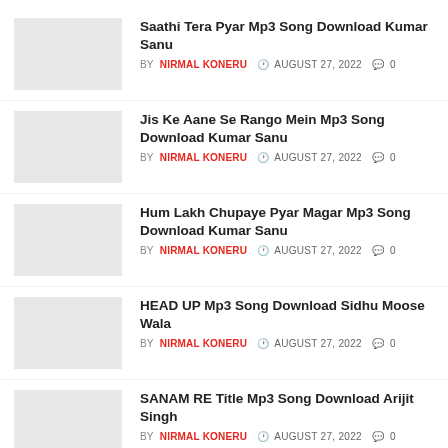Saathi Tera Pyar Mp3 Song Download Kumar Sanu
BY NIRMAL KONERU  AUGUST 27, 2022  0
Jis Ke Aane Se Rango Mein Mp3 Song Download Kumar Sanu
BY NIRMAL KONERU  AUGUST 27, 2022  0
Hum Lakh Chupaye Pyar Magar Mp3 Song Download Kumar Sanu
BY NIRMAL KONERU  AUGUST 27, 2022  0
HEAD UP Mp3 Song Download Sidhu Moose Wala
BY NIRMAL KONERU  AUGUST 27, 2022  0
SANAM RE Title Mp3 Song Download Arijit Singh
BY NIRMAL KONERU  AUGUST 27, 2022  0